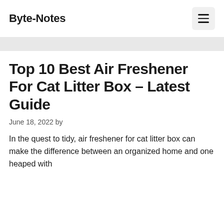Byte-Notes
Top 10 Best Air Freshener For Cat Litter Box – Latest Guide
June 18, 2022 by
In the quest to tidy, air freshener for cat litter box can make the difference between an organized home and one heaped with